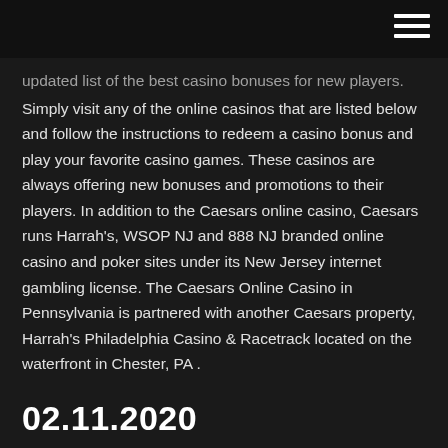updated list of the best casino bonuses for new players. Simply visit any of the online casinos that are listed below and follow the instructions to redeem a casino bonus and play your favorite casino games. These casinos are always offering new bonuses and promotions to their players. In addition to the Caesars online casino, Caesars runs Harrah's, WSOP NJ and 888 NJ branded online casino and poker sites under its New Jersey internet gambling license. The Caesars Online Casino in Pennsylvania is partnered with another Caesars property, Harrah's Philadelphia Casino & Racetrack located on the waterfront in Chester, PA .
02.11.2020
Online casinos are well known for offering hefty bonuses to